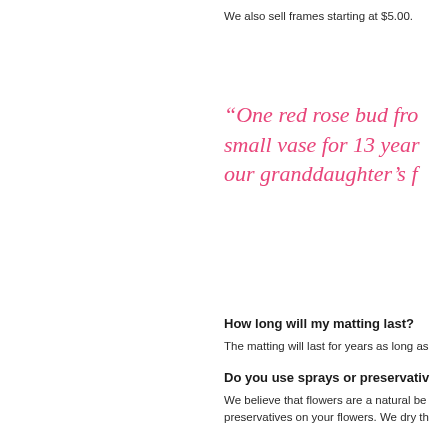We also sell frames starting at $5.00.
“One red rose bud fro… small vase for 13 year… our granddaughter’s f…
How long will my matting last?
The matting will last for years as long as…
Do you use sprays or preservativ…
We believe that flowers are a natural be… preservatives on your flowers. We dry th…